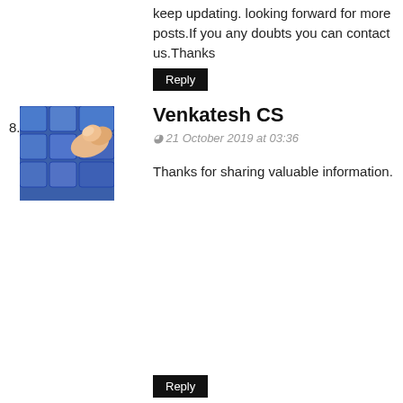keep updating. looking forward for more posts.If you any doubts you can contact us.Thanks
Reply
[Figure (photo): Avatar image of a finger pressing a blue keyboard key]
Venkatesh CS
21 October 2019 at 03:36
Thanks for sharing valuable information.
Reply